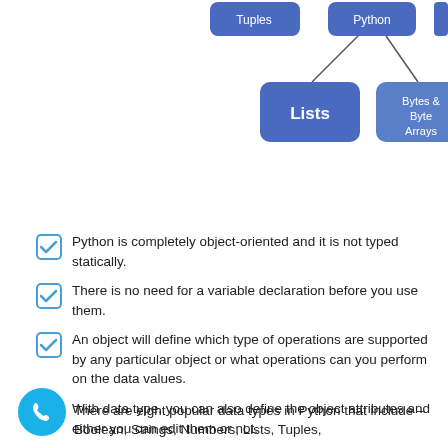[Figure (flowchart): Partial hierarchy diagram showing Python data types. Top row shows: Tuples (blue rounded rectangle), Python (blue rounded rectangle, center), Strings (blue rounded rectangle). Python has two children connected by lines: Lists (large blue rounded rectangle, left) and Bytes & Byte Arrays (blue rounded rectangle, right).]
Python is completely object-oriented and it is not typed statically.
There is no need for a variable declaration before you use them.
An object will define which type of operations are supported by any particular object or what operations can you perform on the data values.
With data type, you can also define the object attributes and either you can edit them or not.
There are eight popular data types in Python that include – Boolean, Strings, Numbers, Lists, Tuples,